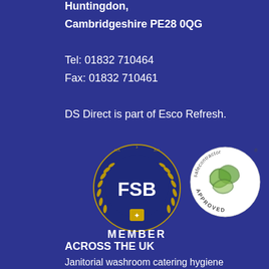Huntingdon,
Cambridgeshire PE28 0QG
Tel: 01832 710464
Fax: 01832 710461
DS Direct is part of Esco Refresh.
[Figure (logo): FSB Member logo - circular dark blue badge with gold laurel wreath, FSB text, and small shield with person icon, with MEMBER text below]
[Figure (logo): Safecontractor Approved circular logo - white circle with green leaf/wave design and APPROVED text around the bottom]
ACROSS THE UK
Janitorial washroom catering hygiene washroom